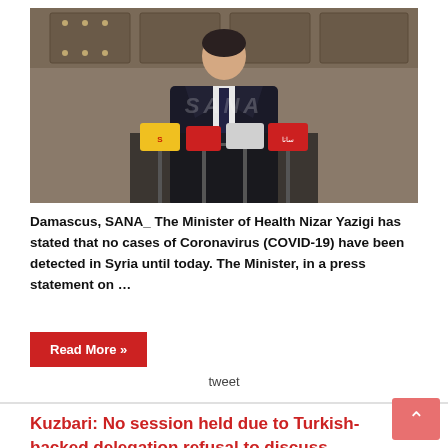[Figure (photo): Man in dark suit at press conference with multiple microphones from news outlets including SANA; ornate wooden door in background. SANA watermark visible.]
Damascus, SANA_ The Minister of Health Nizar Yazigi has stated that no cases of Coronavirus (COVID-19) have been detected in Syria until today. The Minister, in a press statement on …
Read More »
tweet
Kuzbari: No session held due to Turkish-backed delegation refusal to discuss agenda
28 November 2019